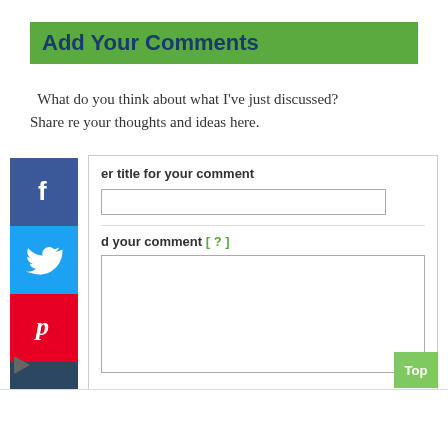Add Your Comments
What do you think about what I've just discussed? Share re your thoughts and ideas here.
[Figure (infographic): Social sharing icons column: Facebook (blue), Twitter (light blue), Pinterest (red), Tumblr (dark blue), Reddit (orange), WhatsApp (green)]
er title for your comment
d your comment [ ? ]